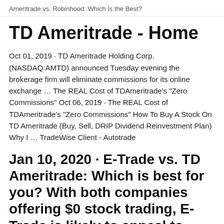Ameritrade vs. Robinhood: Which Is the Best?
TD Ameritrade - Home
Oct 01, 2019 · TD Ameritrade Holding Corp. (NASDAQ:AMTD) announced Tuesday evening the brokerage firm will eliminate commissions for its online exchange … The REAL Cost of TDAmeritrade's "Zero Commissions" Oct 06, 2019 · The REAL Cost of TDAmeritrade's "Zero Commissions" How To Buy A Stock On TD Ameritrade (Buy, Sell, DRIP Dividend Reinvestment Plan) Why I … TradeWise Client - Autotrade
Jan 10, 2020 · E-Trade vs. TD Ameritrade: Which is best for you? With both companies offering $0 stock trading, E-Trade is likely to appeal to heavy options traders, since the